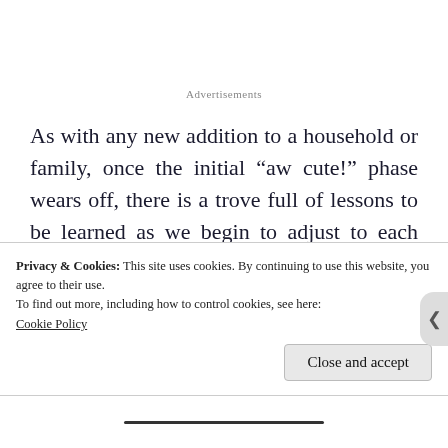Advertisements
As with any new addition to a household or family, once the initial “aw cute!” phase wears off, there is a trove full of lessons to be learned as we begin to adjust to each other. I believe that life is so much more interesting if I assume that everyone and everything can be my
Privacy & Cookies: This site uses cookies. By continuing to use this website, you agree to their use.
To find out more, including how to control cookies, see here:
Cookie Policy
Close and accept